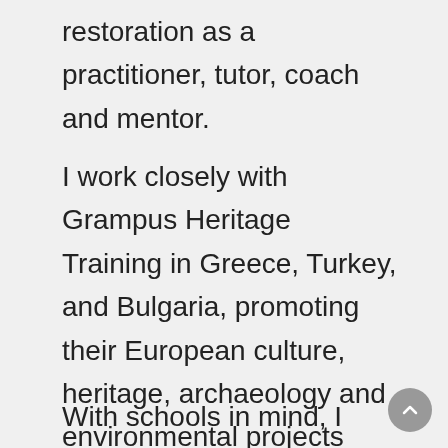restoration as a practitioner, tutor, coach and mentor.
I work closely with Grampus Heritage Training in Greece, Turkey, and Bulgaria, promoting their European culture, heritage, archaeology and environmental projects with the Erasmus Plus Programme, providing funding opportunities for UK students, recent graduates and young workers.
With schools in mind, I created